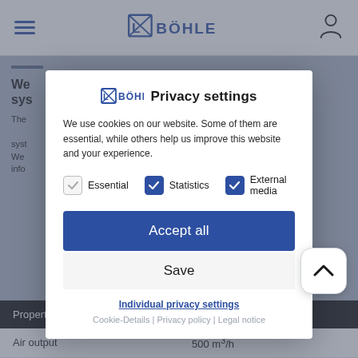[Figure (screenshot): L.B. Bohle website header with hamburger menu, logo, and user icon]
LS BOHLE Privacy settings
We use cookies on our website. Some of them are essential, while others help us improve this website and your experience.
Essential  Statistics  External media
Accept all
Save
Individual privacy settings
Cookie-Details | Privacy policy | Legal notice
| Property | Indication |
| --- | --- |
| Air output | 500 m³/h |